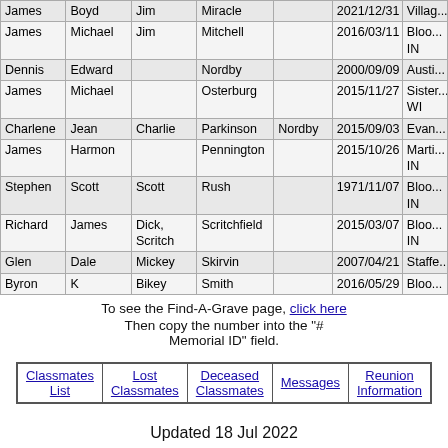| First | Middle | Nickname | Last | Maiden | Date | Location |
| --- | --- | --- | --- | --- | --- | --- |
| James | Boyd | Jim | Miracle |  | 2021/12/31 | ... |
| James | Michael | Jim | Mitchell |  | 2016/03/11 | Bloomington, IN |
| Dennis | Edward |  | Nordby |  | 2000/09/09 | Austin... |
| James | Michael |  | Osterburg |  | 2015/11/27 | Sisters..., WI |
| Charlene | Jean | Charlie | Parkinson | Nordby | 2015/09/03 | Evan... |
| James | Harmon |  | Pennington |  | 2015/10/26 | Marti..., IN |
| Stephen | Scott | Scott | Rush |  | 1971/11/07 | Bloomington, IN |
| Richard | James | Dick, Scritch | Scritchfield |  | 2015/03/07 | Bloomington, IN |
| Glen | Dale | Mickey | Skirvin |  | 2007/04/21 | Staffo... |
| Byron | K | Bikey | Smith |  | 2016/05/29 | Bloo... |
To see the Find-A-Grave page, click here
Then copy the number into the "# Memorial ID" field.
| Classmates List | Lost Classmates | Deceased Classmates | Messages | Reunion Information |
| --- | --- | --- | --- | --- |
Updated 18 Jul 2022